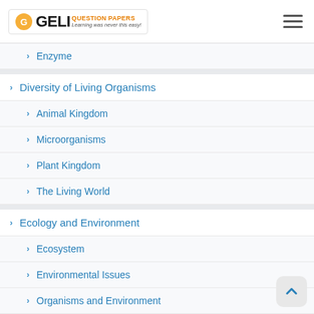GELI QUESTION PAPERS - Learning was never this easy!
Enzyme
Diversity of Living Organisms
Animal Kingdom
Microorganisms
Plant Kingdom
The Living World
Ecology and Environment
Ecosystem
Environmental Issues
Organisms and Environment
Genetics and Evolution
Evolution: The Origin and Evolution of Life